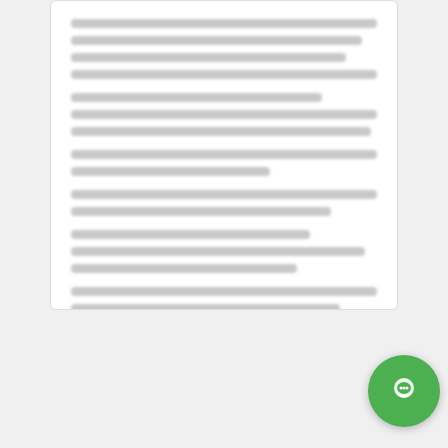[Figure (screenshot): A white document card with multiple lines of blurred/redacted text arranged in paragraph form, shown on a light gray background.]
Our Services
[Figure (screenshot): A green rounded rectangle button (WhatsApp chat widget) with a WhatsApp logo icon and the text 'Hi, how can I help?' in white. Also a green circle chat button on the right.]